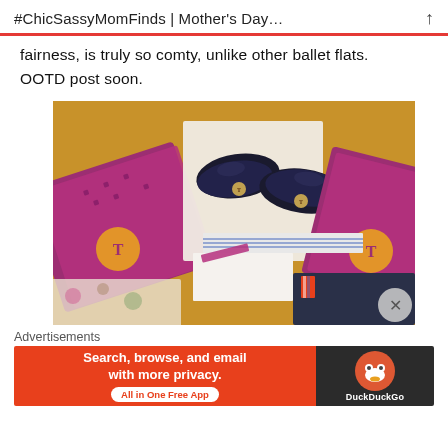#ChicSassyMomFinds | Mother's Day…
fairness, is truly so comty, unlike other ballet flats. OOTD post soon.
[Figure (photo): Flat lay photo showing Tory Burch shoe boxes (magenta/purple with logo), black ballet flats with Tory Burch emblem, white clothing items, a notebook, and dark jeans on a gold/brown background.]
Advertisements
[Figure (screenshot): DuckDuckGo advertisement banner: orange section reading 'Search, browse, and email with more privacy. All in One Free App' and dark section with DuckDuckGo duck logo and text 'DuckDuckGo'.]